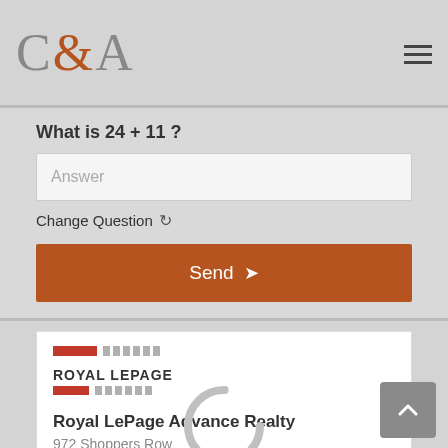C&A
What is 24 + 11 ?
Answer
Change Question ↺
Send
[Figure (logo): Royal LePage logo with red and gray bars and text]
Royal LePage Advance Realty
972 Shoppers Row
Campbell River, British Columbia V9W 2C5
[Figure (infographic): Loading spinner circle with LOADING text overlay]
(250) 286-3293
(888) 286-1932
(250) 286-1932
www.campbellriverrealestate.com